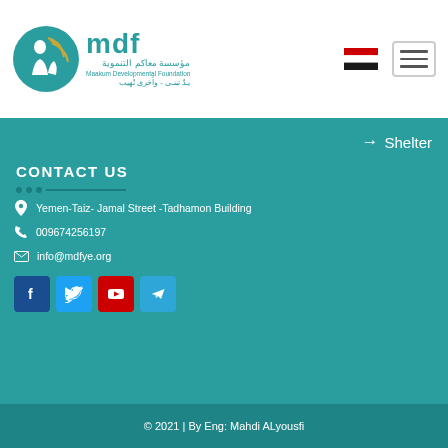[Figure (logo): MDF (Maakum Developmental Foundation) logo with teal circle, Arabic text, and English name]
→ Shelter
CONTACT US
Yemen-Taiz- Jamal Street -Tadhamon Building
009674256197
info@mdfye.org
[Figure (illustration): Social media icons: Facebook, Twitter, YouTube, Telegram]
© 2021 | By Eng: Mahdi ALyousfi